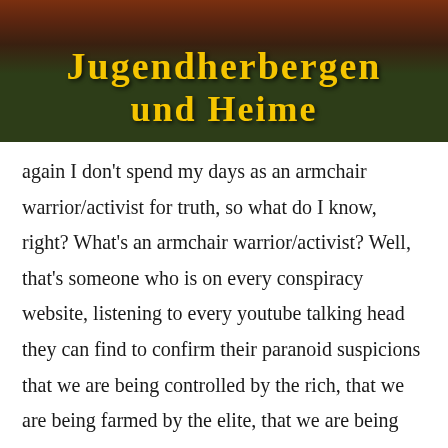[Figure (illustration): Book or poster cover image with dark green/brown background showing illustrated figures at top, with bold yellow Gothic-style text reading 'Jugendherbergen und Heime']
again I don't spend my days as an armchair warrior/activist for truth, so what do I know, right? What's an armchair warrior/activist? Well, that's someone who is on every conspiracy website, listening to every youtube talking head they can find to confirm their paranoid suspicions that we are being controlled by the rich, that we are being farmed by the elite, that we are being poisoned and treated like animals by unknown sinister